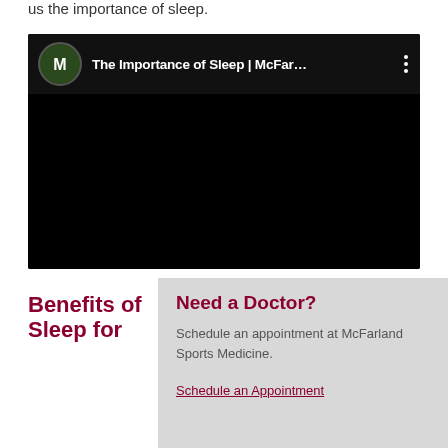us the importance of sleep.
[Figure (screenshot): YouTube-style video embed showing 'The Importance of Sleep | McFar...' with a dark background and a channel icon.]
Benefits of Sleep for
Need a Doctor?
Schedule an appointment at McFarland Sports Medicine.
Schedule an Appointment